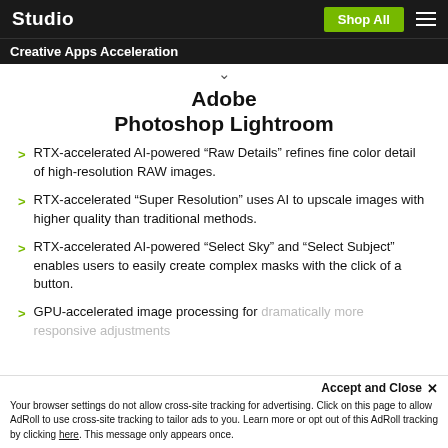Studio   Shop All
Creative Apps Acceleration
Adobe Photoshop Lightroom
RTX-accelerated AI-powered “Raw Details” refines fine color detail of high-resolution RAW images.
RTX-accelerated “Super Resolution” uses AI to upscale images with higher quality than traditional methods.
RTX-accelerated AI-powered “Select Sky” and “Select Subject” enables users to easily create complex masks with the click of a button.
GPU-accelerated image processing for dramatically more responsive adjustments.
Accept and Close ×
Your browser settings do not allow cross-site tracking for advertising. Click on this page to allow AdRoll to use cross-site tracking to tailor ads to you. Learn more or opt out of this AdRoll tracking by clicking here. This message only appears once.